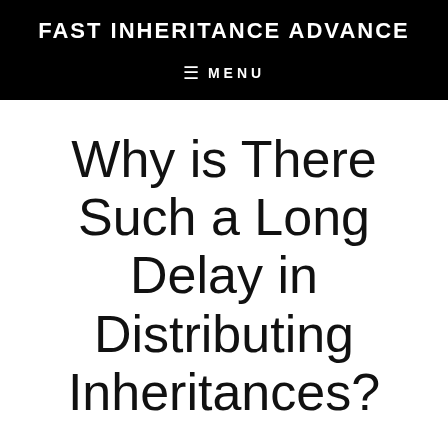FAST INHERITANCE ADVANCE
MENU
Why is There Such a Long Delay in Distributing Inheritances?